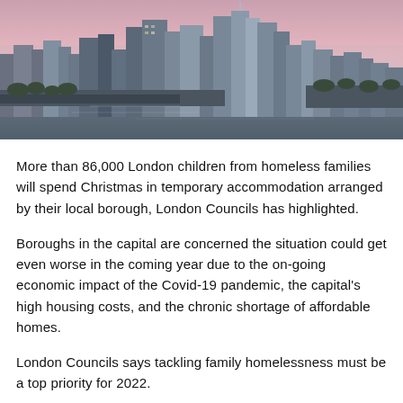[Figure (photo): Aerial cityscape photograph showing a dense urban skyline with skyscrapers along a river, photographed at dusk/dawn with a pink and purple sky.]
More than 86,000 London children from homeless families will spend Christmas in temporary accommodation arranged by their local borough, London Councils has highlighted.
Boroughs in the capital are concerned the situation could get even worse in the coming year due to the on-going economic impact of the Covid-19 pandemic, the capital's high housing costs, and the chronic shortage of affordable homes.
London Councils says tackling family homelessness must be a top priority for 2022.